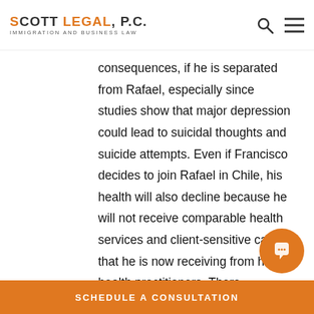SCOTT LEGAL, P.C. IMMIGRATION AND BUSINESS LAW
consequences, if he is separated from Rafael, especially since studies show that major depression could lead to suicidal thoughts and suicide attempts. Even if Francisco decides to join Rafael in Chile, his health will also decline because he will not receive comparable health services and client-sensitive care that he is now receiving from his health practitioners. There continues to be stigma related to seeking mental health services in Chile and
SCHEDULE A CONSULTATION